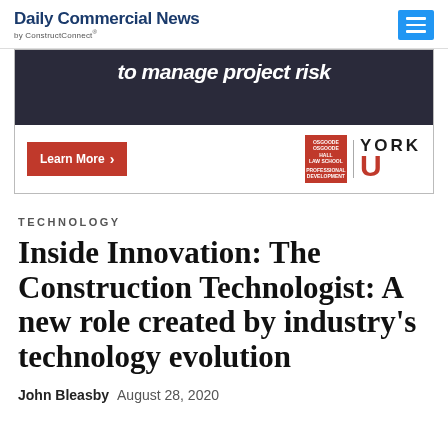Daily Commercial News by ConstructConnect
[Figure (photo): Advertisement banner for Osgoode Hall Law School / York University professional development with text 'to manage project risk', a Learn More button, and York U logo]
TECHNOLOGY
Inside Innovation: The Construction Technologist: A new role created by industry's technology evolution
John Bleasby  August 28, 2020